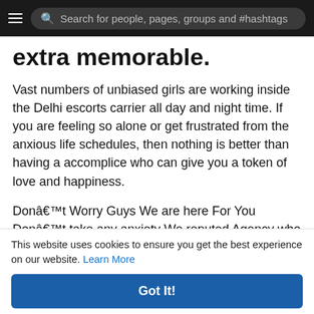Search for people, pages, groups and #hashtags
extra memorable.
Vast numbers of unbiased girls are working inside the Delhi escorts carrier all day and night time. If you are feeling so alone or get frustrated from the anxious life schedules, then nothing is better than having a accomplice who can give you a token of love and happiness.
Donât Worry Guys We are here For You Donât take any anxiety We reputed Agency who Provide High Class To Cheap Services Provider. Yes, You are fortunate Because you Are Reading a Genuine Article.
This website uses cookies to ensure you get the best experience on our website. Learn More
Got It!